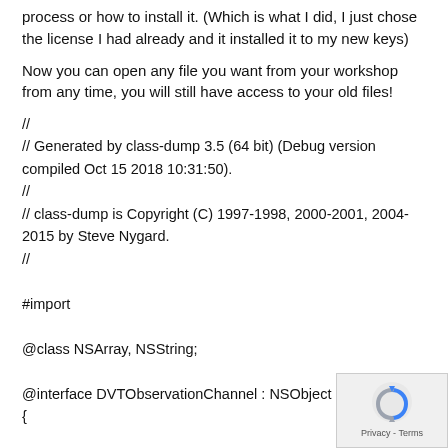process or how to install it. (Which is what I did, I just chose the license I had already and it installed it to my new keys)
Now you can open any file you want from your workshop from any time, you will still have access to your old files!
//
// Generated by class-dump 3.5 (64 bit) (Debug version compiled Oct 15 2018 10:31:50).
//
// class-dump is Copyright (C) 1997-1998, 2000-2001, 2004-2015 by Steve Nygard.
//

#import

@class NSArray, NSString;

@interface DVTObservationChannel : NSObject
{